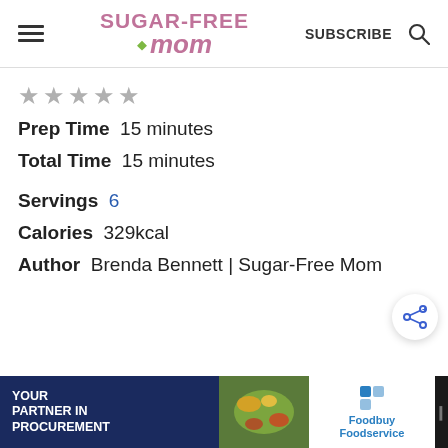Sugar-Free Mom | SUBSCRIBE
★★★★★
Prep Time  15 minutes
Total Time  15 minutes
Servings  6
Calories  329kcal
Author  Brenda Bennett | Sugar-Free Mom
[Figure (logo): Advertisement banner: YOUR PARTNER IN PROCUREMENT | Foodbuy Foodservice logo | dark right panel with WW logo]